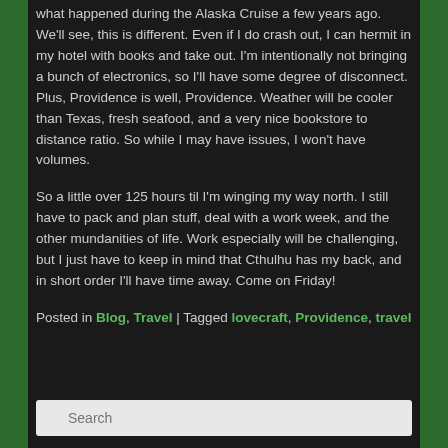what happened during the Alaska Cruise a few years ago. We'll see, this is different. Even if I do crash out, I can hermit in my hotel with books and take out. I'm intentionally not bringing a bunch of electronics, so I'll have some degree of disconnect. Plus, Providence is well, Providence. Weather will be cooler than Texas, fresh seafood, and a very nice bookstore to distance ratio. So while I may have issues, I won't have volumes.
So a little over 125 hours til I'm winging my way north. I still have to pack and plan stuff, deal with a work week, and the other mundanities of life. Work especially will be challenging, but I just have to keep in mind that Cthulhu has my back, and in short order I'll have time away. Come on Friday!
Posted in Blog, Travel | Tagged lovecraft, Providence, travel